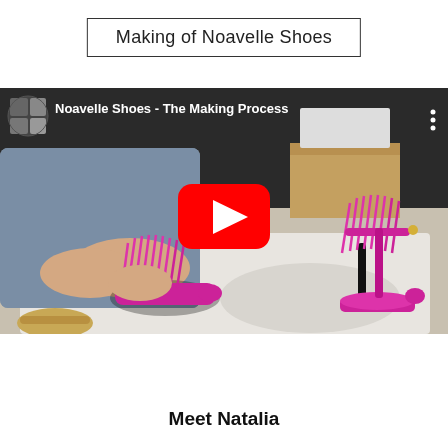Making of Noavelle Shoes
[Figure (screenshot): YouTube video thumbnail showing a person handling bright pink/magenta fringe high-heel sandals on a white surface, with a completed pair of the same shoes visible to the right. Video title overlay reads 'Noavelle Shoes - The Making Process' with a YouTube play button in the center.]
Meet Natalia